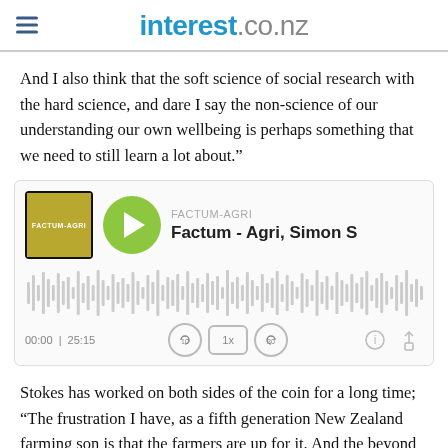interest.co.nz
And I also think that the soft science of social research with the hard science, and dare I say the non-science of our understanding our own wellbeing is perhaps something that we need to still learn a lot about.”
[Figure (other): Audio podcast player widget showing FACTUM-AGRI podcast art, green play button, title 'Factum - Agri, Simon S', waveform, time display 00:00 | 25:15, and playback controls]
Stokes has worked on both sides of the coin for a long time; “The frustration I have, as a fifth generation New Zealand farming son is that the farmers are up for it. And the beyond farming things. The concepts on that end...